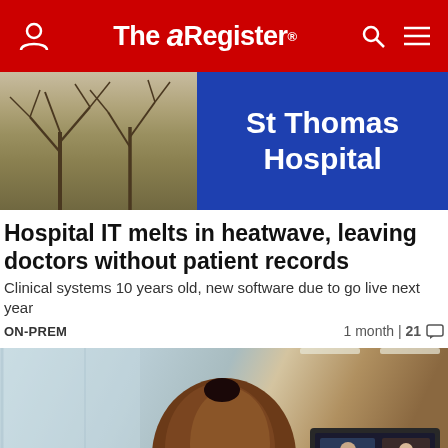The Register
[Figure (photo): St Thomas Hospital blue sign with bare winter trees in background]
Hospital IT melts in heatwave, leaving doctors without patient records
Clinical systems 10 years old, new software due to go live next year
ON-PREM   1 month | 21 comments
[Figure (photo): Person viewed from behind sitting at an office desk with a computer monitor showing a video call]